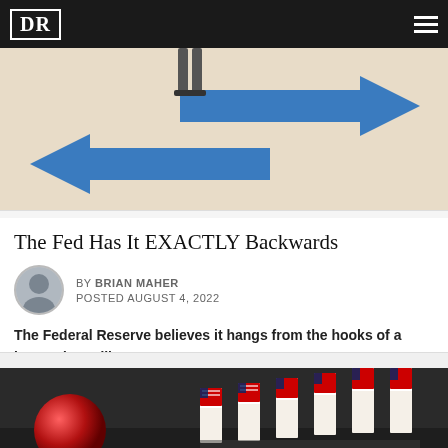DR
[Figure (illustration): Illustration showing two opposing blue arrows on a beige background with legs of a person visible, representing contradictory directions or dilemma.]
The Fed Has It EXACTLY Backwards
BY BRIAN MAHER
POSTED AUGUST 4, 2022
The Federal Reserve believes it hangs from the hooks of a horrendous dilemma.
[Figure (photo): Close-up photo of a red metallic sphere near falling domino pieces decorated with American flag pattern, on a dark reflective surface.]